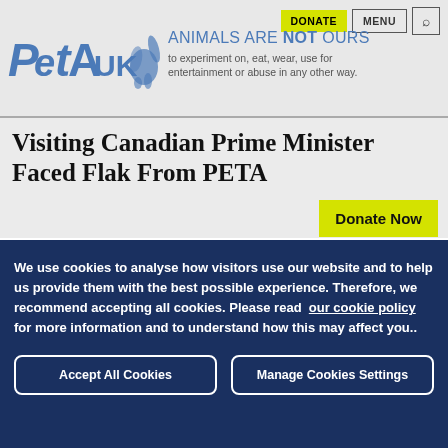[Figure (logo): PETA UK logo with blue text and rabbit silhouette]
ANIMALS ARE NOT OURS to experiment on, eat, wear, use for entertainment or abuse in any other way.
Visiting Canadian Prime Minister Faced Flak From PETA
Donate Now
We use cookies to analyse how visitors use our website and to help us provide them with the best possible experience. Therefore, we recommend accepting all cookies. Please read our cookie policy for more information and to understand how this may affect you..
Accept All Cookies
Manage Cookies Settings